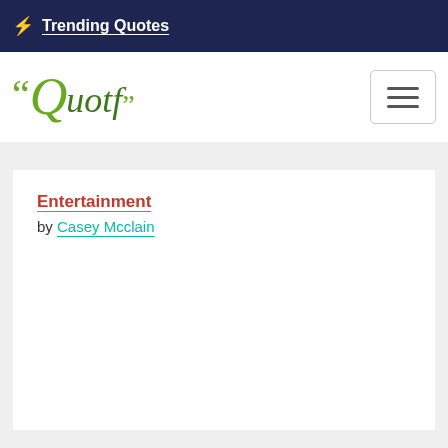Trending Quotes
[Figure (logo): Quotf logo with stylized Q and quotation marks in green]
Entertainment
by Casey Mcclain